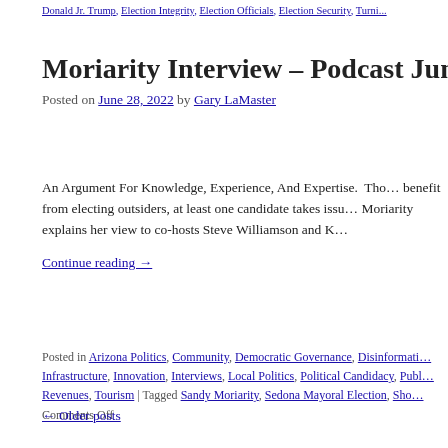Donald Jr. Trump, Election Integrity, Election Officials, Election Security, Turni...
Moriarity Interview – Podcast June 27, 20…
Posted on June 28, 2022 by Gary LaMaster
An Argument For Knowledge, Experience, And Expertise.  Tho… benefit from electing outsiders, at least one candidate takes issu… Moriarity explains her view to co-hosts Steve Williamson and K…
Continue reading →
Posted in Arizona Politics, Community, Democratic Governance, Disinformati… Infrastructure, Innovation, Interviews, Local Politics, Political Candidacy, Publ… Revenues, Tourism | Tagged Sandy Moriarity, Sedona Mayoral Election, Sho… Comments Off
← Older posts